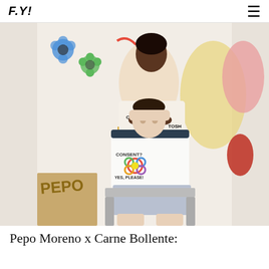F.Y!
[Figure (photo): Two men posing in front of a colorful wall with painted flowers and text. The man in front sits in a chair wearing a white ringer t-shirt that reads 'CONSENT? YES, PLEASE!' and grey shorts. The man behind stands wearing a white sweatshirt with text. Cardboard with 'PEPO' written on it is visible in the foreground.]
Pepo Moreno x Carne Bollente: